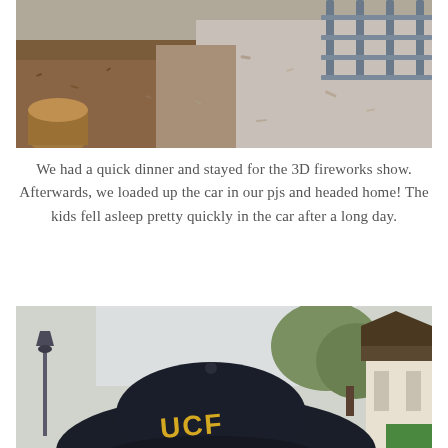[Figure (photo): Outdoor photo showing wood chip mulch ground cover with metal bleacher structure in background and a log stump on the left side]
We had a quick dinner and stayed for the 3D fireworks show. Afterwards, we loaded up the car in our pjs and headed home! The kids fell asleep pretty quickly in the car after a long day.
[Figure (photo): Photo of a person wearing a dark UCF (University of Central Florida) baseball cap, with trees and a gazebo structure visible in the background under an overcast sky]